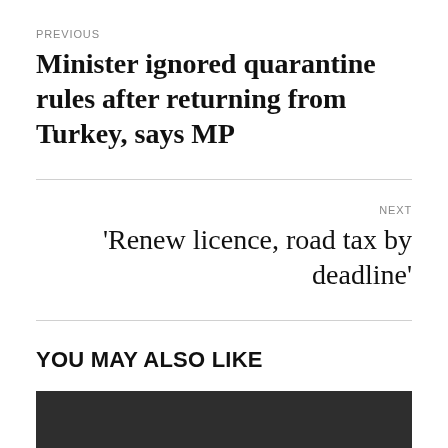PREVIOUS
Minister ignored quarantine rules after returning from Turkey, says MP
NEXT
‘Renew licence, road tax by deadline’
YOU MAY ALSO LIKE
[Figure (photo): Dark image placeholder at bottom of page]